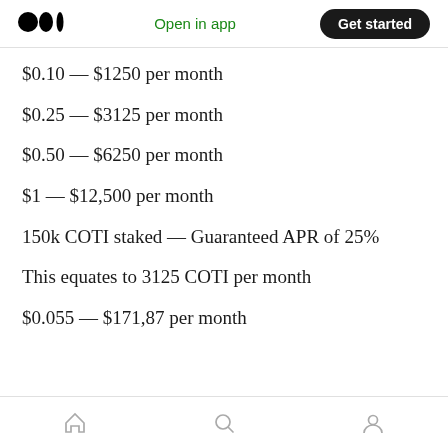Medium logo | Open in app | Get started
$0.10 — $1250 per month
$0.25 — $3125 per month
$0.50 — $6250 per month
$1 — $12,500 per month
150k COTI staked — Guaranteed APR of 25%
This equates to 3125 COTI per month
$0.055 — $171,87 per month
Home | Search | Profile